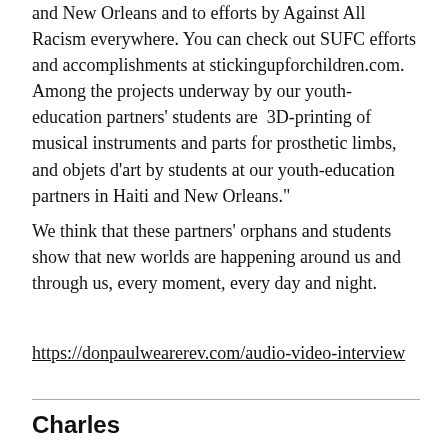and New Orleans and to efforts by Against All Racism everywhere. You can check out SUFC efforts and accomplishments at stickingupforchildren.com. Among the projects underway by our youth-education partners' students are  3D-printing of musical instruments and parts for prosthetic limbs, and objets d'art by students at our youth-education partners in Haiti and New Orleans."
We think that these partners' orphans and students show that new worlds are happening around us and through us, every moment, every day and night.
https://donpaulwearerev.com/audio-video-interview
Charles